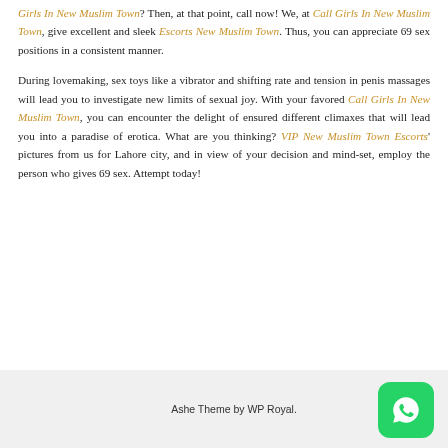Girls In New Muslim Town? Then, at that point, call now! We, at Call Girls In New Muslim Town, give excellent and sleek Escorts New Muslim Town. Thus, you can appreciate 69 sex positions in a consistent manner.

During lovemaking, sex toys like a vibrator and shifting rate and tension in penis massages will lead you to investigate new limits of sexual joy. With your favored Call Girls In New Muslim Town, you can encounter the delight of ensured different climaxes that will lead you into a paradise of erotica. What are you thinking? VIP New Muslim Town Escorts' pictures from us for Lahore city, and in view of your decision and mind-set, employ the person who gives 69 sex. Attempt today!
Ashe Theme by WP Royal.